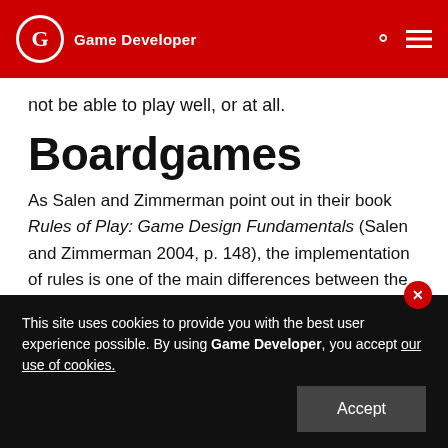Game Developer
not be able to play well, or at all.
Boardgames
As Salen and Zimmerman point out in their book Rules of Play: Game Design Fundamentals (Salen and Zimmerman 2004, p. 148), the implementation of rules is one of the main differences between the world of digital games and that of boardgames:
“In a non-digital game, the rules of a game are generally something that is separat…
This site uses cookies to provide you with the best user experience possible. By using Game Developer, you accept our use of cookies.